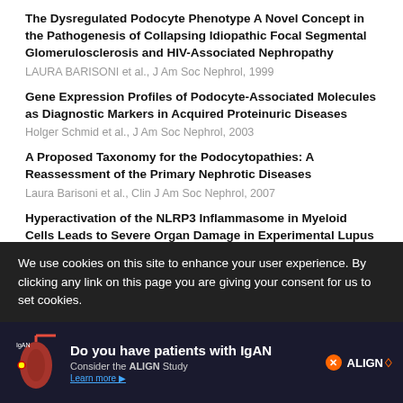The Dysregulated Podocyte Phenotype A Novel Concept in the Pathogenesis of Collapsing Idiopathic Focal Segmental Glomerulosclerosis and HIV-Associated Nephropathy
LAURA BARISONI et al., J Am Soc Nephrol, 1999
Gene Expression Profiles of Podocyte-Associated Molecules as Diagnostic Markers in Acquired Proteinuric Diseases
Holger Schmid et al., J Am Soc Nephrol, 2003
A Proposed Taxonomy for the Podocytopathies: A Reassessment of the Primary Nephrotic Diseases
Laura Barisoni et al., Clin J Am Soc Nephrol, 2007
Hyperactivation of the NLRP3 Inflammasome in Myeloid Cells Leads to Severe Organ Damage in Experimental Lupus
Ailing Lu et al., J Immunol, 2017
Tyrosine phosphorylation–dependent activation of TRPC6 regulated by PLC-γ1 and nephrin; effect of mutations associated with focal segmental...
We use cookies on this site to enhance your user experience. By clicking any link on this page you are giving your consent for us to set cookies.
[Figure (infographic): Advertisement banner: Do you have patients with IgAN? Consider the ALIGN Study. Learn more. ALIGN logo with kidney illustration.]